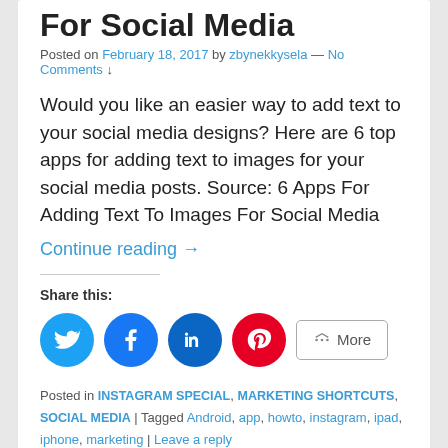For Social Media
Posted on February 18, 2017 by zbynekkysela — No Comments ↓
Would you like an easier way to add text to your social media designs? Here are 6 top apps for adding text to images for your social media posts. Source: 6 Apps For Adding Text To Images For Social Media
Continue reading →
Share this:
[Figure (infographic): Share buttons: Twitter (blue circle), Facebook (blue circle), LinkedIn (dark blue circle), Pinterest (red circle), and a More button]
Posted in INSTAGRAM SPECIAL, MARKETING SHORTCUTS, SOCIAL MEDIA | Tagged Android, app, howto, instagram, ipad, iphone, marketing | Leave a reply
The 13 Best Photo & Video Editing Apps for Mobile